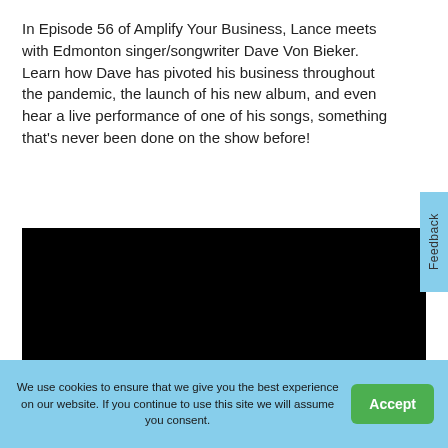In Episode 56 of Amplify Your Business, Lance meets with Edmonton singer/songwriter Dave Von Bieker. Learn how Dave has pivoted his business throughout the pandemic, the launch of his new album, and even hear a live performance of one of his songs, something that's never been done on the show before!
[Figure (other): Black video player embed area]
We use cookies to ensure that we give you the best experience on our website. If you continue to use this site we will assume you consent.